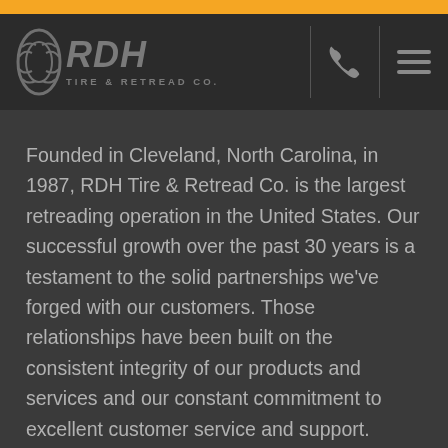[Figure (logo): RDH Tire & Retread Co. logo with stylized tire icon and gray lettering on dark background, with phone and hamburger menu icons]
Founded in Cleveland, North Carolina, in 1987, RDH Tire & Retread Co. is the largest retreading operation in the United States. Our successful growth over the past 30 years is a testament to the solid partnerships we've forged with our customers. Those relationships have been built on the consistent integrity of our products and services and our constant commitment to excellent customer service and support.